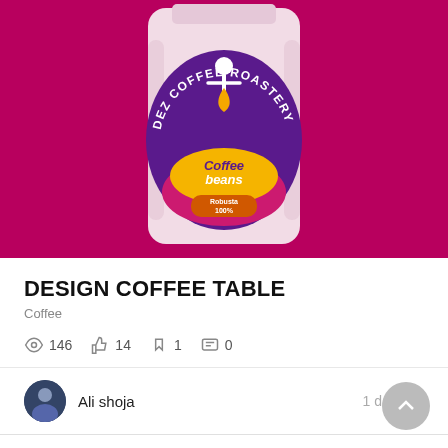[Figure (photo): Coffee bag product photo on magenta/pink background. The bag is light pink with a round purple circular label reading 'DEZ COFFEE ROASTERY' around the top arc. The label has a figure icon at top, with a yellow oval badge saying 'Coffee beans' in purple/white, and an orange pill badge saying 'Robusta 100%'.]
DESIGN COFFEE TABLE
Coffee
146  14  1  0
Ali shoja
1 day ago